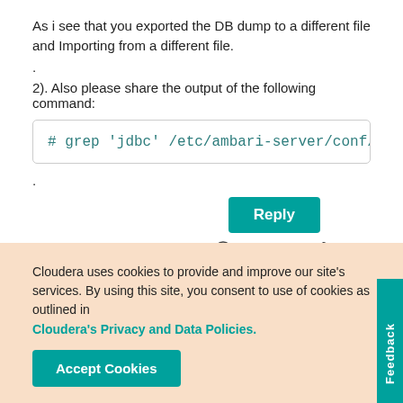As i see that you exported the DB dump to a different file and Importing from a different file.
.
2). Also please share the output of the following command:
# grep 'jdbc' /etc/ambari-server/conf/amba
.
Reply
968 VIEWS   0 KU
Feedback
Cloudera uses cookies to provide and improve our site's services. By using this site, you consent to use of cookies as outlined in Cloudera's Privacy and Data Policies.
Accept Cookies